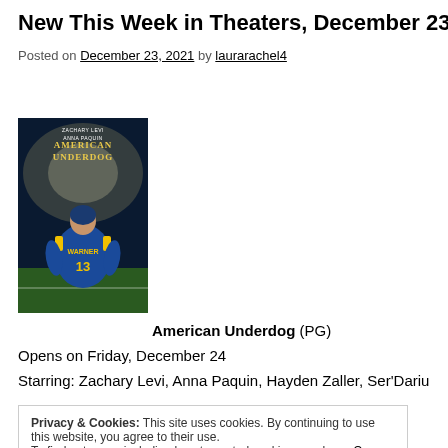New This Week in Theaters, December 23
Posted on December 23, 2021 by laurarachel4
[Figure (photo): Movie poster for American Underdog showing a football player wearing jersey number 13 with name WARNER, blue and yellow uniform, stadium lights in background]
American Underdog (PG)
Opens on Friday, December 24
Starring: Zachary Levi, Anna Paquin, Hayden Zaller, Ser'Darius
Privacy & Cookies: This site uses cookies. By continuing to use this website, you agree to their use.
To find out more, including how to control cookies, see here: Our Cookie Policy
Close and accept